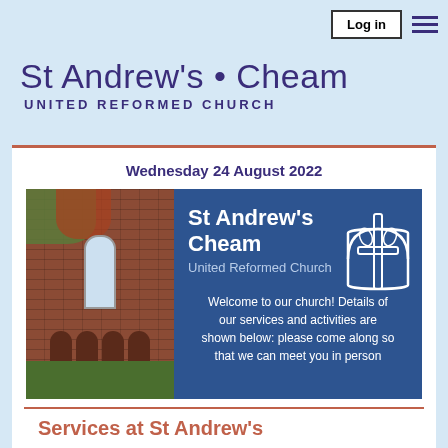Log in  ☰
St Andrew's • Cheam
UNITED REFORMED CHURCH
Wednesday 24 August 2022
[Figure (photo): Photo of St Andrew's Cheam United Reformed Church brick building on the left, and a blue banner on the right reading 'St Andrew's Cheam United Reformed Church — Welcome to our church! Details of our services and activities are shown below: please come along so that we can meet you in person', with a stained-glass window cross icon.]
Services at St Andrew's